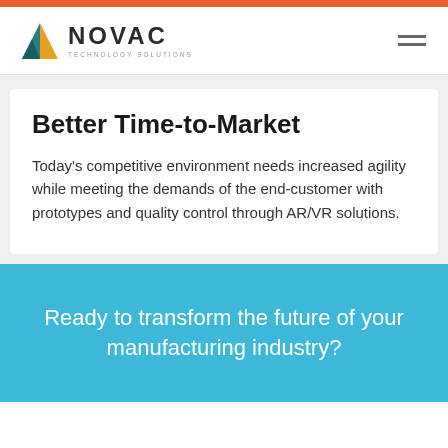[Figure (logo): Novac Technology Solutions logo with geometric triangular icon in teal and yellow, company name NOVAC in bold with TECHNOLOGY SOLUTIONS tagline below]
Better Time-to-Market
Today’s competitive environment needs increased agility while meeting the demands of the end-customer with prototypes and quality control through AR/VR solutions.
Ready to transform the future of your manufacturing industry?